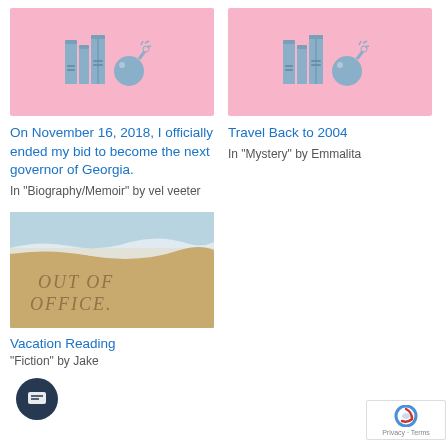[Figure (illustration): Pink background with blue illustrated books and a bomb/grenade icon]
On November 16, 2018, I officially ended my bid to become the next governor of Georgia.
In "Biography/Memoir" by vel veeter
[Figure (illustration): Pink background with blue illustrated books and a bomb/grenade icon]
Travel Back to 2004
In "Mystery" by Emmalita
[Figure (photo): Beach sand photo with OUT OF OFFICE written in the sand, ocean wave in background]
Vacation Reading
"Fiction" by Jake